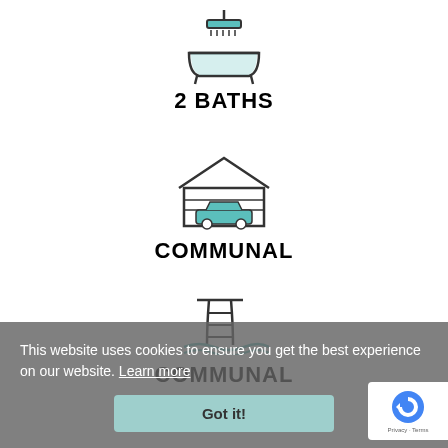[Figure (illustration): Bathtub with shower icon, teal/outline style]
2 BATHS
[Figure (illustration): Garage with car inside icon, teal/outline style]
COMMUNAL
[Figure (illustration): Swimming pool with ladder icon, teal/outline style]
COMMUNAL
This website uses cookies to ensure you get the best experience on our website. Learn more
Got it!